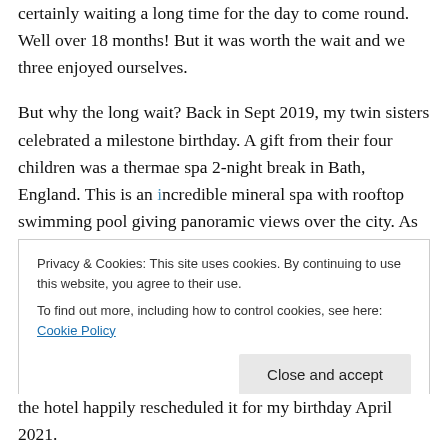certainly waiting a long time for the day to come round. Well over 18 months! But it was worth the wait and we three enjoyed ourselves.
But why the long wait? Back in Sept 2019, my twin sisters celebrated a milestone birthday. A gift from their four children was a thermae spa 2-night break in Bath, England. This is an incredible mineral spa with rooftop swimming pool giving panoramic views over the city. As the year was getting late, the trip was arranged for the following April and invited me to join them for afternoon tea
Privacy & Cookies: This site uses cookies. By continuing to use this website, you agree to their use. To find out more, including how to control cookies, see here: Cookie Policy
the hotel happily rescheduled it for my birthday April 2021.